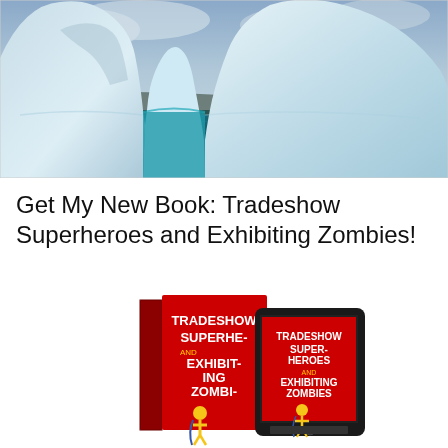[Figure (photo): Photograph of a large iceberg with a narrow gap in the center, surrounded by blue-green ocean water and a cloudy sky in the background.]
Get My New Book: Tradeshow Superheroes and Exhibiting Zombies!
[Figure (photo): Photo of the book 'Tradeshow Superheroes and Exhibiting Zombies' shown as a physical book with red cover and a tablet/e-reader displaying the same book cover.]